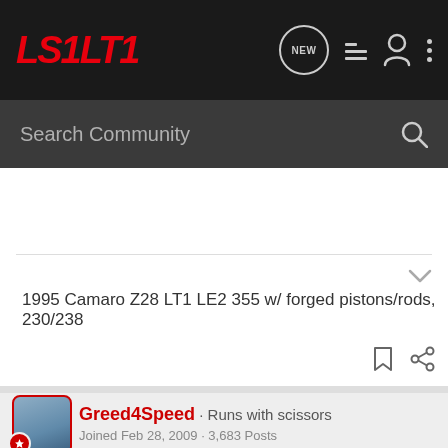LS1LT1 - Navigation bar with NEW, list, user, and more icons
Search Community
1995 Camaro Z28 LT1 LE2 355 w/ forged pistons/rods, 230/238
Greed4Speed · Runs with scissors
Joined Feb 28, 2009 · 3,683 Posts
#5 · Apr 5, 2013
4genPhoenix said: